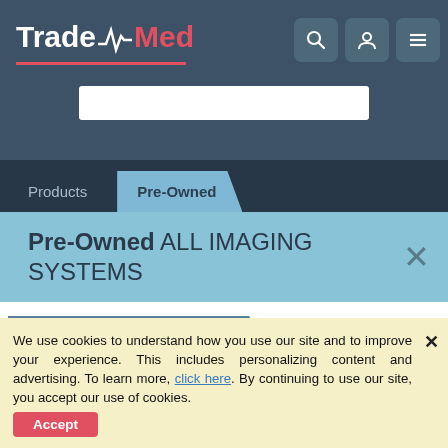TradeMed
Pre-Owned ALL IMAGING SYSTEMS
Medical Imaging
[Figure (screenshot): Medical device product image thumbnail]
We use cookies to understand how you use our site and to improve your experience. This includes personalizing content and advertising. To learn more, click here. By continuing to use our site, you accept our use of cookies.